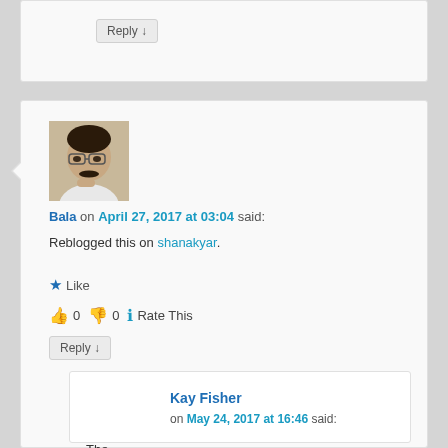Reply ↓
[Figure (photo): Profile photo of a man with glasses and a mustache, touching his chin thoughtfully]
Bala on April 27, 2017 at 03:04 said:
Reblogged this on shanakyar.
★ Like
👍 0 👎 0 ℹ Rate This
Reply ↓
Kay Fisher
on May 24, 2017 at 16:46 said: